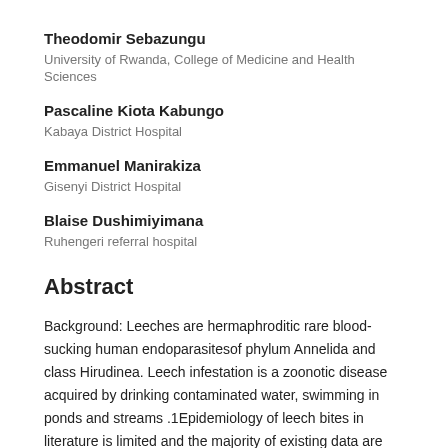Theodomir Sebazungu
University of Rwanda, College of Medicine and Health Sciences
Pascaline Kiota Kabungo
Kabaya District Hospital
Emmanuel Manirakiza
Gisenyi District Hospital
Blaise Dushimiyimana
Ruhengeri referral hospital
Abstract
Background: Leeches are hermaphroditic rare blood-sucking human endoparasitesof phylum Annelida and class Hirudinea. Leech infestation is a zoonotic disease acquired by drinking contaminated water, swimming in ponds and streams .1Epidemiology of leech bites in literature is limited and the majority of existing data are case reports from the tropics or